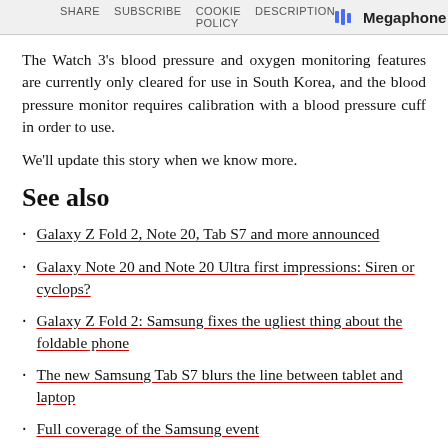SHARE  SUBSCRIBE  COOKIE POLICY  DESCRIPTION   Megaphone
The Watch 3's blood pressure and oxygen monitoring features are currently only cleared for use in South Korea, and the blood pressure monitor requires calibration with a blood pressure cuff in order to use.
We'll update this story when we know more.
See also
Galaxy Z Fold 2, Note 20, Tab S7 and more announced
Galaxy Note 20 and Note 20 Ultra first impressions: Siren or cyclops?
Galaxy Z Fold 2: Samsung fixes the ugliest thing about the foldable phone
The new Samsung Tab S7 blurs the line between tablet and laptop
Full coverage of the Samsung event